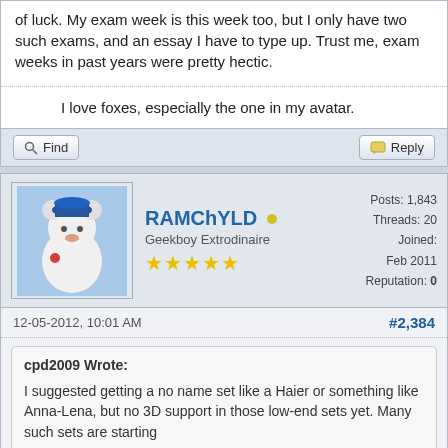of luck. My exam week is this week too, but I only have two such exams, and an essay I have to type up. Trust me, exam weeks in past years were pretty hectic.
I love foxes, especially the one in my avatar.
Find
Reply
RAMChYLD
Geekboy Extrodinaire
Posts: 1,843 Threads: 20 Joined: Feb 2011 Reputation: 0
12-05-2012, 10:01 AM
#2,384
cpd2009 Wrote:
I suggested getting a no name set like a Haier or something like Anna-Lena, but no 3D support in those low-end sets yet. Many such sets are starting to have over 1000p options (without the low-end line) but